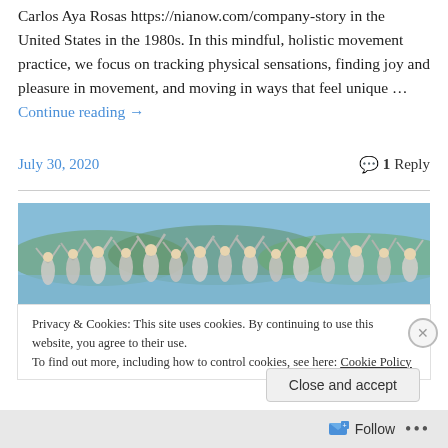Carlos Aya Rosas https://nianow.com/company-story in the United States in the 1980s. In this mindful, holistic movement practice, we focus on tracking physical sensations, finding joy and pleasure in movement, and moving in ways that feel unique … Continue reading →
July 30, 2020   💬 1 Reply
[Figure (photo): A large group of people dancing outdoors near water with arms raised, wearing light clothing, with mountains and sky in the background.]
Privacy & Cookies: This site uses cookies. By continuing to use this website, you agree to their use.
To find out more, including how to control cookies, see here: Cookie Policy
Close and accept
Follow ...